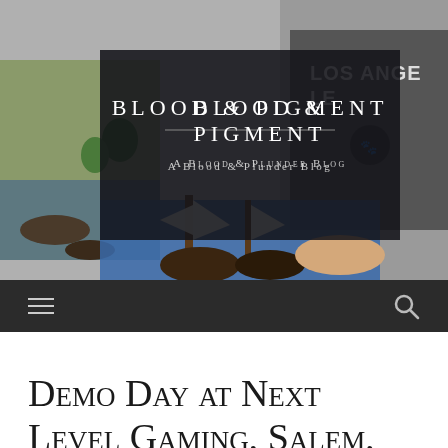[Figure (photo): Header photo of a tabletop wargaming scene with miniature ships and terrain, person in Los Angeles shirt visible in background. Dark overlay box in center showing the blog title.]
Blood & Pigment
A Blood & Plunder Blog
[Figure (screenshot): Navigation bar with hamburger menu icon on left and search icon on right, dark background.]
Demo Day at Next Level Gaming, Salem, Oregon